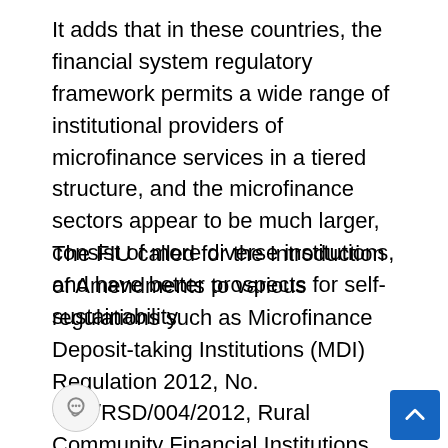It adds that in these countries, the financial system regulatory framework permits a wide range of institutional providers of microfinance services in a tiered structure, and the microfinance sectors appear to be much larger, consist of more diverse institutions, and have better prospects for self-sustainability
The FIU called for the Introduction of Amendments to various regulations such as Microfinance Deposit-taking Institutions (MDI) Regulation 2012, No. CBL/RSD/004/2012, Rural Community Financial Institutions, CBL/RSD/002/2016, and Credit Unions Regulation, No. CBL/RSD/001/2015 among others to reflect the tiered risk-based approach and tier 120 categorization